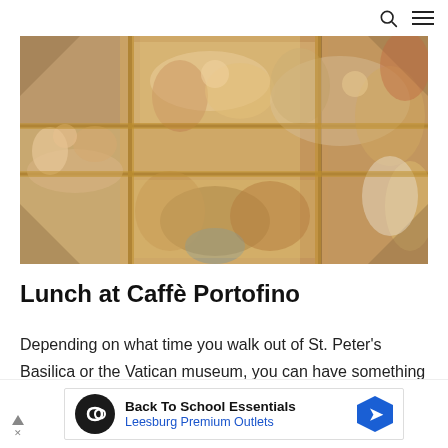search menu icons
[Figure (photo): Photograph of the Sistine Chapel ceiling, showing Michelangelo's frescoes including the Creation of Adam and other biblical scenes with multiple human figures painted in Renaissance style.]
Lunch at Caffè Portofino
Depending on what time you walk out of St. Peter's Basilica or the Vatican museum, you can have something to eat at Caffè Portofino. The
[Figure (other): Advertisement banner: Back To School Essentials - Leesburg Premium Outlets, with an infinity loop logo and blue diamond arrow icon.]